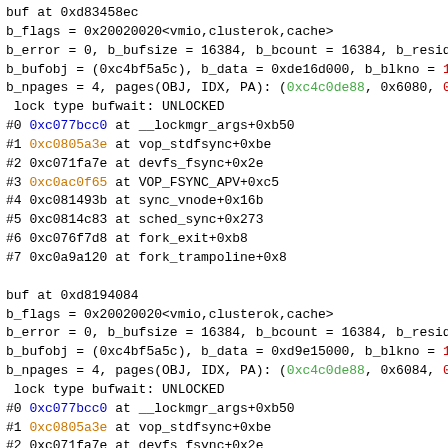buf at 0xd83458ec
b_flags = 0x20020020<vmio,clusterok,cache>
b_error = 0, b_bufsize = 16384, b_bcount = 16384, b_resid
b_bufobj = (0xc4bf5a5c), b_data = 0xde16d000, b_blkno = 1
b_npages = 4, pages(OBJ, IDX, PA): (0xc4c0de88, 0x6080, 0
 lock type bufwait: UNLOCKED
#0 0xc077bcc0 at __lockmgr_args+0xb50
#1 0xc0805a3e at vop_stdfsync+0xbe
#2 0xc071fa7e at devfs_fsync+0x2e
#3 0xc0ac0f65 at VOP_FSYNC_APV+0xc5
#4 0xc081493b at sync_vnode+0x16b
#5 0xc0814c83 at sched_sync+0x273
#6 0xc076f7d8 at fork_exit+0xb8
#7 0xc0a9a120 at fork_trampoline+0x8

buf at 0xd8194084
b_flags = 0x20020020<vmio,clusterok,cache>
b_error = 0, b_bufsize = 16384, b_bcount = 16384, b_resid
b_bufobj = (0xc4bf5a5c), b_data = 0xd9e15000, b_blkno = 1
b_npages = 4, pages(OBJ, IDX, PA): (0xc4c0de88, 0x6084, 0
 lock type bufwait: UNLOCKED
#0 0xc077bcc0 at __lockmgr_args+0xb50
#1 0xc0805a3e at vop_stdfsync+0xbe
#2 0xc071fa7e at devfs_fsync+0x2e
#3 0xc0ac0f65 at VOP_FSYNC_APV+0xc5
#4 0xc081493b at sync_vnode+0x16b
#5 0xc0814c83 at sched_sync+0x273
#6 0xc076f7d8 at fork_exit+0xb8
#7 0xc0a9a120 at fork_trampoline+0x8